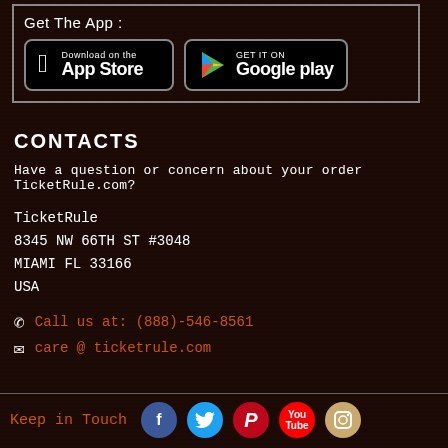Get The App :
[Figure (other): App Store and Google Play download buttons]
CONTACTS
Have a question or concern about your order TicketRule.com?
TicketRule
8345 NW 66TH ST #3048
MIAMI FL 33166
USA
Call us at: (888)-546-8561
care @ ticketrule.com
Keep in Touch